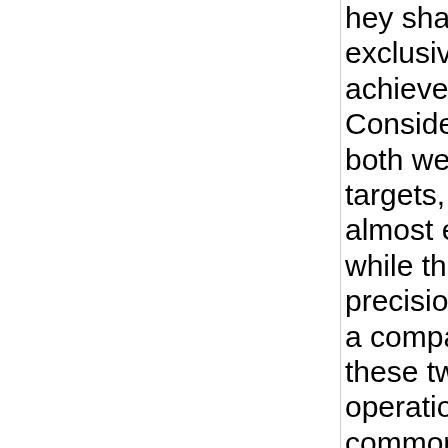hey share the common thread of almost exclusive reliance upon airpower for the achievement of operational objectives. Considering Linebacker and Allied Force, both were against largely conventional targets, yet the former was no doubt almost exclusively unguided ordnance while the latter had a large percentage of precision ordnance. The point here is not a comparison, but more the contrast of these two campaigns with our current operations. Inherent Resolve has more in common with Commando Hunt, as both are interdiction and attrition of combat power of an unconventional force through the use of airpower. In as much as the effectiveness of Linebacker